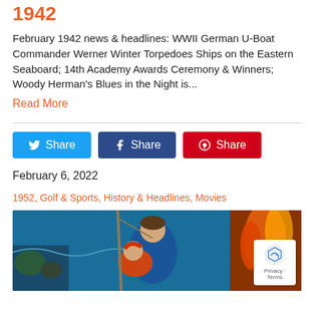1942
February 1942 news & headlines: WWII German U-Boat Commander Werner Winter Torpedoes Ships on the Eastern Seaboard; 14th Academy Awards Ceremony & Winners; Woody Herman's Blues in the Night is...
Read More
[Figure (other): Three social share buttons: Twitter Share (blue), Facebook Share (dark blue), Pinterest Share (red)]
February 6, 2022
1952, Golf & Sports, History & Headlines, Movies
[Figure (illustration): Movie poster illustration showing a man in a blue shirt rescuing a woman, with fire and ocean scenes in the background]